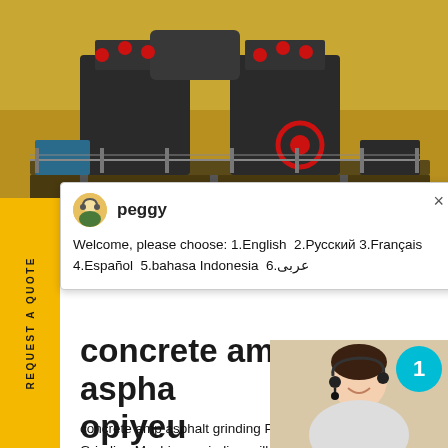[Figure (photo): Industrial heavy mining/crushing machine with two large dark metal units on a platform, red mechanical accents, set against a sandy/rocky background.]
REQUEST A QUOTE
[Figure (screenshot): Chat popup with avatar (peggy) showing welcome message: Welcome, please choose: 1.English 2.Русский 3.Français 4.Español 5.bahasa Indonesia 6.عربی]
concrete ampamp aspha opiyeu
concrete amp asphalt grinding Phalt Grinding Machines grinding mill equ
[Figure (photo): Customer service agent (woman with headset smiling) with teal badge showing '1', and dark blue box with 'Have any requests, click here.' and orange Quotation button.]